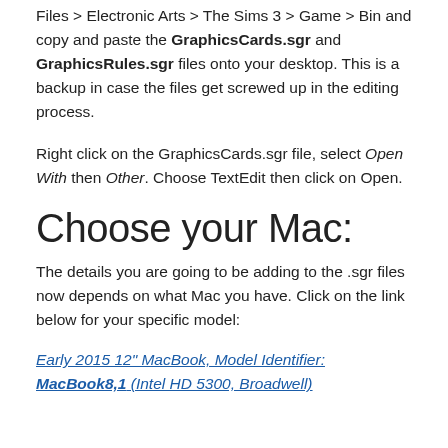Files > Electronic Arts > The Sims 3 > Game > Bin and copy and paste the GraphicsCards.sgr and GraphicsRules.sgr files onto your desktop. This is a backup in case the files get screwed up in the editing process.
Right click on the GraphicsCards.sgr file, select Open With then Other. Choose TextEdit then click on Open.
Choose your Mac:
The details you are going to be adding to the .sgr files now depends on what Mac you have. Click on the link below for your specific model:
Early 2015 12" MacBook, Model Identifier: MacBook8,1 (Intel HD 5300, Broadwell)